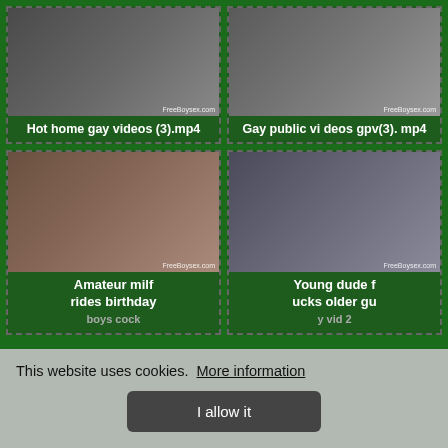[Figure (screenshot): Thumbnail image for 'Hot home gay videos (3).mp4' with watermark FreeBo ysex.com]
Hot home gay videos (3).mp4
[Figure (screenshot): Thumbnail image for 'Gay public videos gpv(3).mp4' with watermark FreeBoysex.com]
Gay public vi deos gpv(3). mp4
[Figure (screenshot): Thumbnail image for 'Amateur milf rides birthday boys cock' with watermark FreeBoysex.com]
Amateur milf rides birthday boys cock
[Figure (screenshot): Thumbnail image for 'Young dude fucks older guy vid 2' with watermark FreeBoysex.com]
Young dude f ucks older gu y vid 2
This website uses cookies.  More information
I allow it